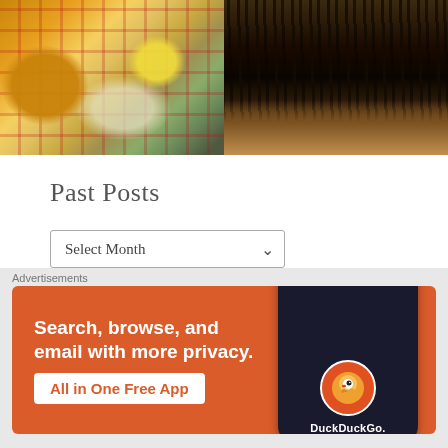[Figure (photo): Two photos side by side at top: left shows food ingredients including honey in a glass, oats/flour, and a lemon on a red plaid cloth; right shows a dark silhouette of trees against a dramatic sunset sky]
Past Posts
Select Month (dropdown)
Date Posts Produced
August 2022
[Figure (screenshot): Advertisement banner: DuckDuckGo app ad with orange background. Text reads 'Search, browse, and email with more privacy. All in One Free App' with phone graphic showing DuckDuckGo logo]
Advertisements